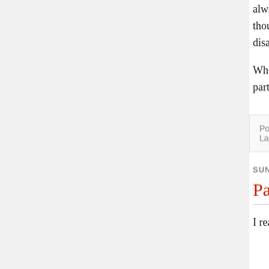always want to "move on" (indeed, Piñera b wanting to get mired in the past) and "no though, that simply means getting off the ho that when your child, father, mother, bro disappeared, moving on is not so simple. mercy, they were given none.
Whether or not to grant pardons is always a Ford!). In Chile, where dialogue has been g particularly true.
Posted by Greg Weeks at 11:55 AM , 0 comments Labels: Chile
SUNDAY, JULY 14, 2013
Pat Barker's Regeneration
I read Pat Barker's Regeneration , part of currently in. It is historical fiction, focusing